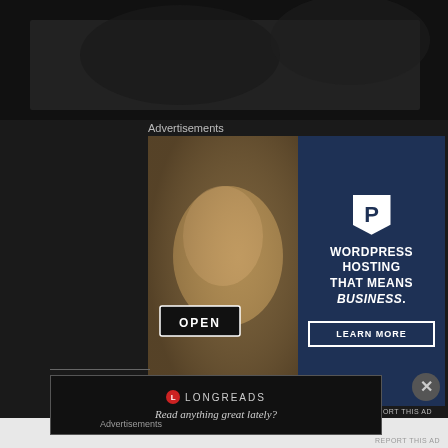[Figure (photo): Dark background photo at top of page]
Advertisements
[Figure (photo): WordPress hosting advertisement banner with woman holding OPEN sign on left, and dark blue right panel with 'P' logo, text 'WORDPRESS HOSTING THAT MEANS BUSINESS.' and 'LEARN MORE' button]
REPORT THIS AD
[Figure (photo): Longreads advertisement banner with logo and tagline 'Read anything great lately?']